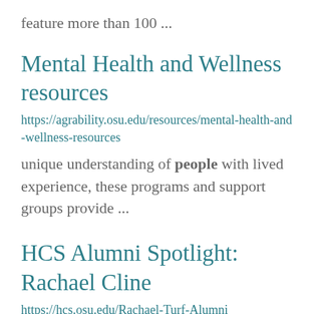feature more than 100 ...
Mental Health and Wellness resources
https://agrability.osu.edu/resources/mental-health-and-wellness-resources
unique understanding of people with lived experience, these programs and support groups provide ...
HCS Alumni Spotlight: Rachael Cline
https://hcs.osu.edu/Rachael-Turf-Alumni
tasks and I learned how the actions I